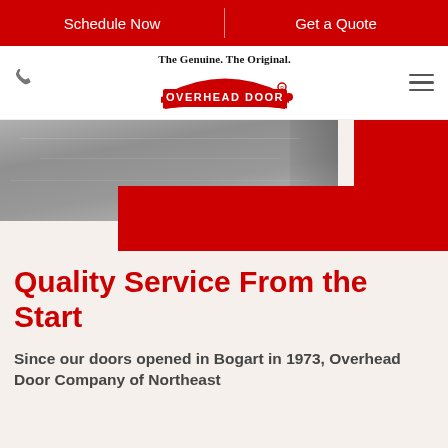Schedule Now | Get a Quote
[Figure (logo): Overhead Door company logo with tagline 'The Genuine. The Original.' and red banner logo, plus phone icon and hamburger menu]
[Figure (photo): Partial view of a driveway/road surface (gravel/asphalt) with a red decorative block background element]
Quality Service From the Start
Since our doors opened in Bogart in 1973, Overhead Door Company of Northeast